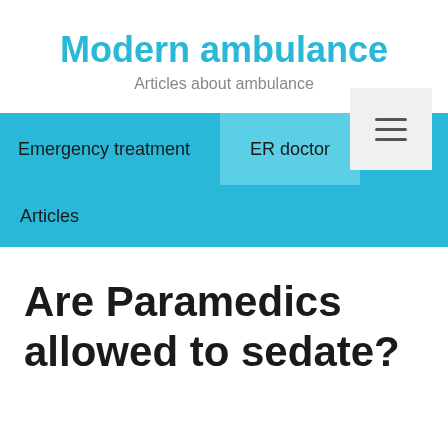Modern ambulance
Articles about ambulance
Emergency treatment   ER doctor   Articles
Are Paramedics allowed to sedate?